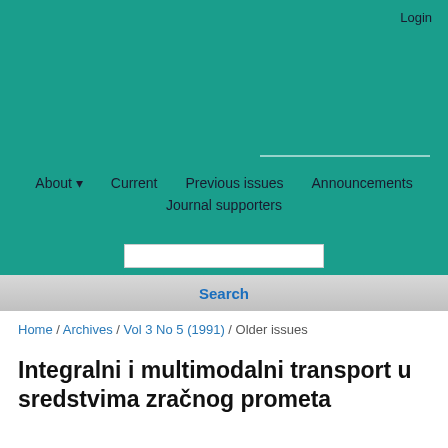Login
About ▾   Current   Previous issues   Announcements
Journal supporters
Search
Home / Archives / Vol 3 No 5 (1991) / Older issues
Integralni i multimodalni transport u sredstvima zračnog prometa